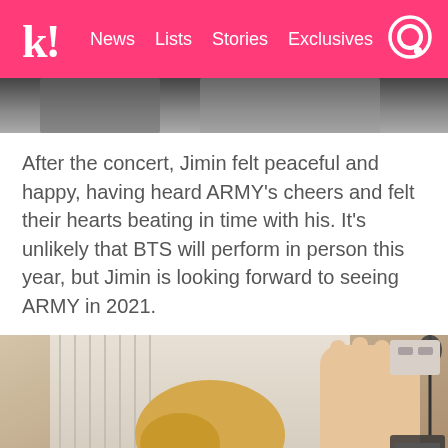k! News Lists Stories Exclusives
[Figure (photo): Top strip of a photo, partially cropped — appears to show a person in black and white or low contrast]
After the concert, Jimin felt peaceful and happy, having heard ARMY's cheers and felt their hearts beating in time with his. It's unlikely that BTS will perform in person this year, but Jimin is looking forward to seeing ARMY in 2021.
[Figure (photo): Photo of Jimin (BTS member) with blonde hair, waving at the camera with his hand raised, smiling, in a studio setting with a keyboard and microphone stand visible in the background]